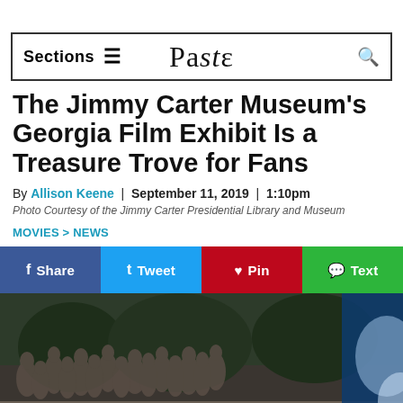Sections ≡   Paste   🔍
The Jimmy Carter Museum's Georgia Film Exhibit Is a Treasure Trove for Fans
By Allison Keene | September 11, 2019 | 1:10pm
Photo Courtesy of the Jimmy Carter Presidential Library and Museum
MOVIES > NEWS
Share | Tweet | Pin | Text
[Figure (photo): Scene from The Walking Dead with zombie crowd and 'Welcome to the' sign visible, plus a blue-tinted image on the right edge]